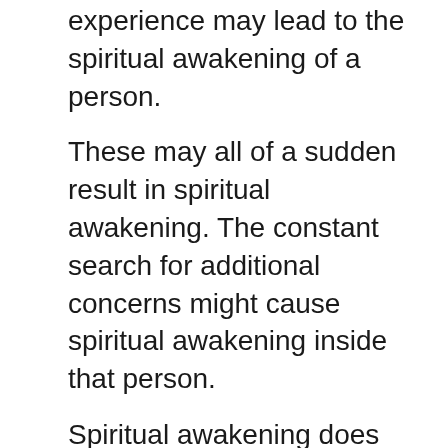experience may lead to the spiritual awakening of a person.
These may all of a sudden result in spiritual awakening. The constant search for additional concerns might cause spiritual awakening inside that person.
Spiritual awakening does not indicate that you are out from the reality. It is such a mindset where you start to look as well as seek for a course which provides you a new interpretation of life.
What Do I Do if I Did Awaken?
If you did have an awakening, you are in for fairly a flight. You do not foretell, as well as